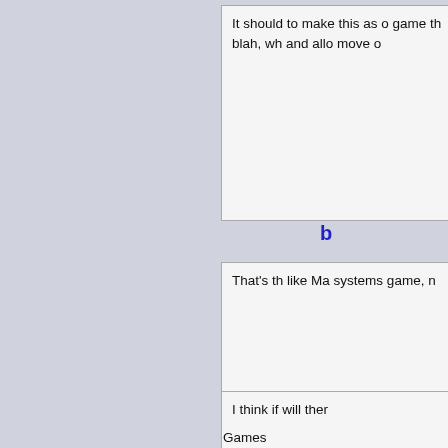It should to make this as o game th blah, wh and allo move o
b
That's th like Ma systems game, n
I think if will ther
Games